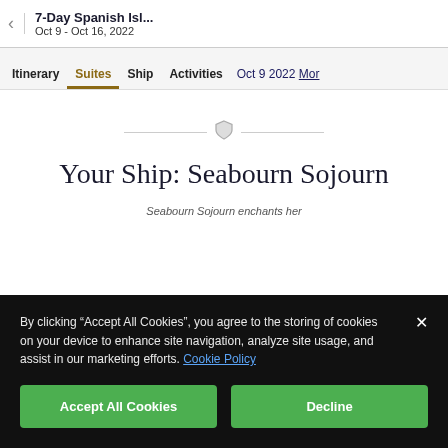7-Day Spanish Isl... | Oct 9 - Oct 16, 2022
Itinerary | Suites | Ship | Activities | Oct 9 2022 More
Your Ship: Seabourn Sojourn
Seabourn Sojourn enchants her
By clicking “Accept All Cookies”, you agree to the storing of cookies on your device to enhance site navigation, analyze site usage, and assist in our marketing efforts. Cookie Policy
Accept All Cookies
Decline